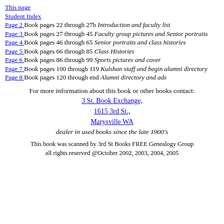This page
Student Index
Page 2 Book pages 22 through 27b Introduction and faculty list
Page 3 Book pages 27 through 45 Faculty group pictures and Senior portraits
Page 4 Book pages 46 through 65 Senior portraits and class histories
Page 5 Book pages 66 through 85 Class Histories
Page 6 Book pages 86 through 99 Sports pictures and cover
Page 7 Book pages 100 through 119 Kulshan staff and begin alumni directory
Page 8 Book pages 120 through end Alumni directory and ads
For more information about this book or other books contact:
3 St. Book Exchange, 1615 3rd St., Marysville WA
dealer in used books since the late 1900's
This book was scanned by 3rd St Books FREE Genealogy Group all rights reserved @October 2002, 2003, 2004, 2005